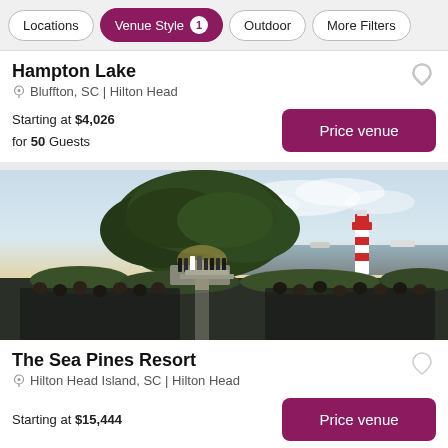Locations | Venue Style 1 | Outdoor | More Filters
Hampton Lake
Bluffton, SC | Hilton Head
Starting at $4,026 for 50 Guests
[Figure (photo): Outdoor wedding ceremony at The Sea Pines Resort with a large live oak tree, lighthouse in the background, and wedding party and guests gathered by the waterfront.]
The Sea Pines Resort
Hilton Head Island, SC | Hilton Head
Starting at $15,444